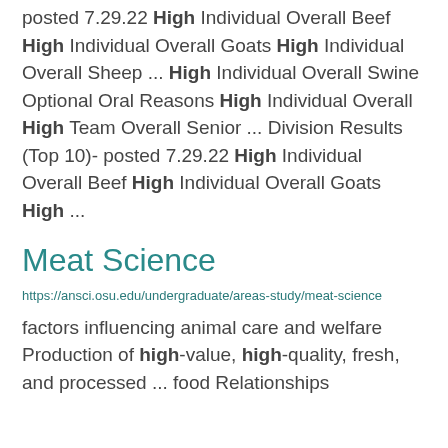posted 7.29.22 High Individual Overall Beef High Individual Overall Goats High Individual Overall Sheep ... High Individual Overall Swine Optional Oral Reasons High Individual Overall High Team Overall Senior ... Division Results (Top 10)- posted 7.29.22 High Individual Overall Beef High Individual Overall Goats High ...
Meat Science
https://ansci.osu.edu/undergraduate/areas-study/meat-science
factors influencing animal care and welfare
Production of high-value, high-quality, fresh, and processed ... food Relationships